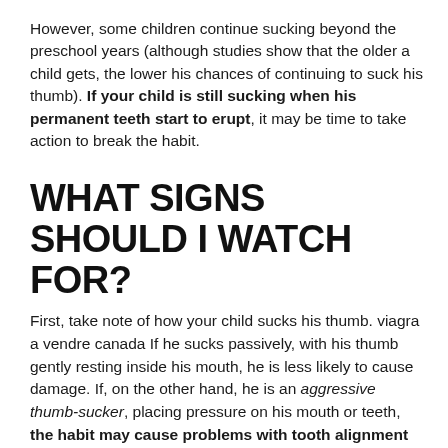However, some children continue sucking beyond the preschool years (although studies show that the older a child gets, the lower his chances of continuing to suck his thumb). If your child is still sucking when his permanent teeth start to erupt, it may be time to take action to break the habit.
WHAT SIGNS SHOULD I WATCH FOR?
First, take note of how your child sucks his thumb. viagra a vendre canada If he sucks passively, with his thumb gently resting inside his mouth, he is less likely to cause damage. If, on the other hand, he is an aggressive thumb-sucker, placing pressure on his mouth or teeth, the habit may cause problems with tooth alignment and proper mouth growth. Extended sucking affects